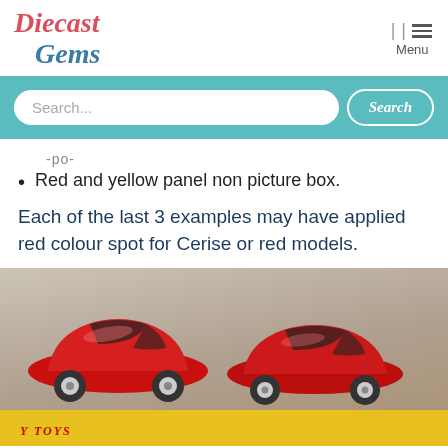Diecast Gems
-po-
Red and yellow panel non picture box.
Each of the last 3 examples may have applied red colour spot for Cerise or red models.
[Figure (photo): Two red diecast model cars (Porsche style) displayed side by side, one on a yellow Dinky Toys box, photographed against a grey-brown background.]